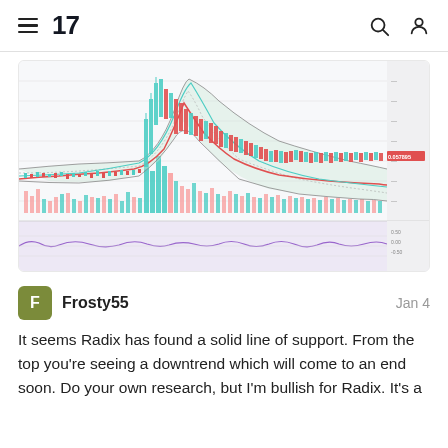TradingView
[Figure (screenshot): TradingView candlestick chart showing Radix price history with volume bars at bottom and an oscillator indicator below. Chart shows a sharp price rise followed by a downtrend with green and red candlesticks, Bollinger band overlays, and a moving average line. Volume histogram in teal and pink. Lower panel shows a wavy oscillator on lavender background.]
Frosty55
Jan 4
It seems Radix has found a solid line of support. From the top you're seeing a downtrend which will come to an end soon. Do your own research, but I'm bullish for Radix. It's a